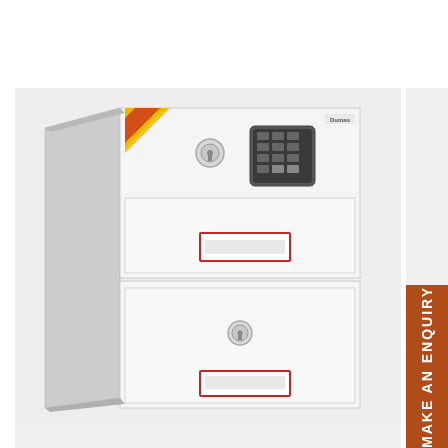[Figure (photo): A white two-drawer fireproof filing cabinet/safe with electronic keypad and key lock on the top drawer, and a key lock on the bottom drawer. Each drawer has a red-outlined label holder. The cabinet has a gold/yellow security sticker in the upper left corner of the top section.]
MAKE AN ENQUIRY